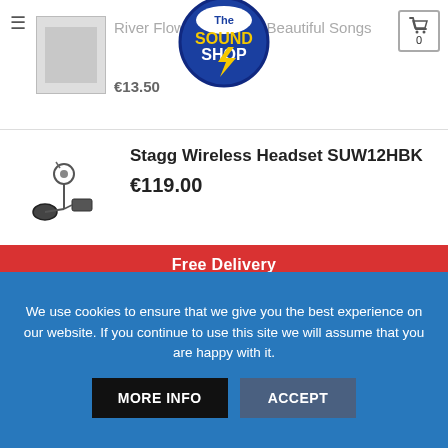River Flows in... Other Beautiful Songs — €13.50
[Figure (logo): The Sound Shop circular logo with blue background and yellow lightning bolt]
Stagg Wireless Headset SUW12HBK
€119.00
Free Delivery
Stagg SPM235BK High-resolution, sound-isolating earphones, black
€45.01
We use cookies to ensure that we give you the best experience on our website. If you continue to use this site we will assume that you are happy with it.
MORE INFO
ACCEPT